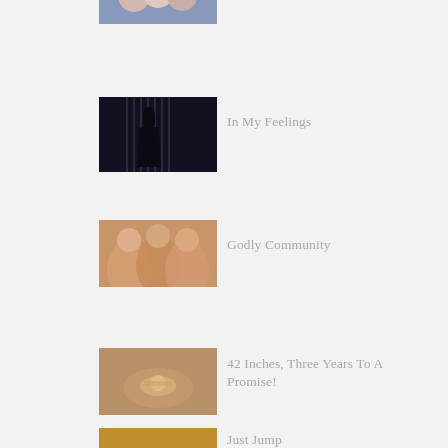[Figure (photo): Thumbnail image of group of people (cropped top)]
[Figure (photo): Dark silhouette of person by window]
In My Feelings
[Figure (photo): Hands joined together in community gesture]
Godly Community
[Figure (photo): Close-up of ring on finger]
42 Inches, Three Years To A Promise!
[Figure (photo): Glowing light or sunrise image]
Just Jump